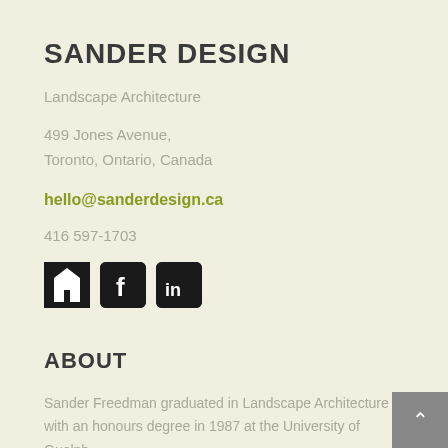SANDER DESIGN
Landscape Architecture
499 Jones Avenue,
Toronto, Ontario, Canada
hello@sanderdesign.ca
416 597-1703
[Figure (logo): Three social media icons: Houzz (black arrow-style logo), Facebook (black rounded square with white f), LinkedIn (black rounded square with white in)]
ABOUT
Sander Freedman graduated in Landscape Architecture with an honours degree in 1987 at the University of Guelph.